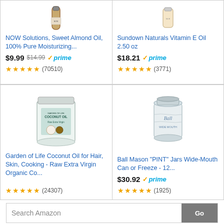[Figure (screenshot): Amazon product listing screenshot showing 4 products in a 2x2 grid: NOW Solutions Sweet Almond Oil, Sundown Naturals Vitamin E Oil, Garden of Life Coconut Oil, Ball Mason Jars. Below is a Search Amazon bar and social sharing buttons.]
NOW Solutions, Sweet Almond Oil, 100% Pure Moisturizing... $9.99 $14.99 prime (70510)
Sundown Naturals Vitamin E Oil 2.50 oz $18.21 prime (3771)
Garden of Life Coconut Oil for Hair, Skin, Cooking - Raw Extra Virgin Organic Co... (24307)
Ball Mason "PINT" Jars Wide-Mouth Can or Freeze - 12... $30.92 prime (1925)
Search Amazon